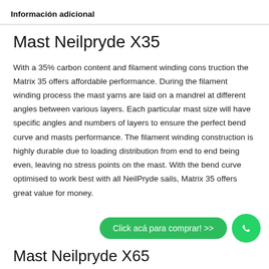Información adicional
Mast Neilpryde X35
With a 35% carbon content and filament winding cons truction the Matrix 35 offers affordable performance. During the filament winding process the mast yarns are laid on a mandrel at different angles between various layers. Each particular mast size will have specific angles and numbers of layers to ensure the perfect bend curve and masts performance. The filament winding construction is highly durable due to loading distribution from end to end being even, leaving no stress points on the mast. With the bend curve optimised to work best with all NeilPryde sails, Matrix 35 offers great value for money.
Click acá para comprar! >>
Mast Neilpryde X65